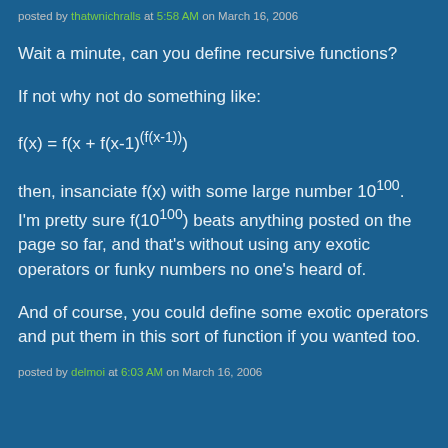posted by thatwnichralls at 5:58 AM on March 16, 2006
Wait a minute, can you define recursive functions?
If not why not do something like:
then, insanciate f(x) with some large number 10^100. I'm pretty sure f(10^100) beats anything posted on the page so far, and that's without using any exotic operators or funky numbers no one's heard of.
And of course, you could define some exotic operators and put them in this sort of function if you wanted too.
posted by delmoi at 6:03 AM on March 16, 2006